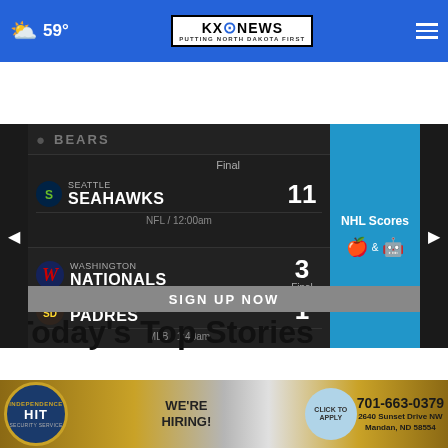59° KXO NEWS — PUTTING NORTH DAKOTA FIRST
[Figure (screenshot): Sports scores widget showing NFL: Seattle Seahawks 11 (Final, NFL/12:00am) and MLB: Washington Nationals 3 vs San Diego Padres 1 (Final, MLB/1:40am). NHL Scores panel visible on right with Apple and Android icons.]
SUBSCRIBE NOW
Today's Top Stories
Your email
[Figure (infographic): Advertisement banner for Independence Hit Security Service: We're Hiring! Click To Apply. 701-663-0379, 2640 Sunset Drive NW, Mandan, ND 58554]
SIGN UP NOW